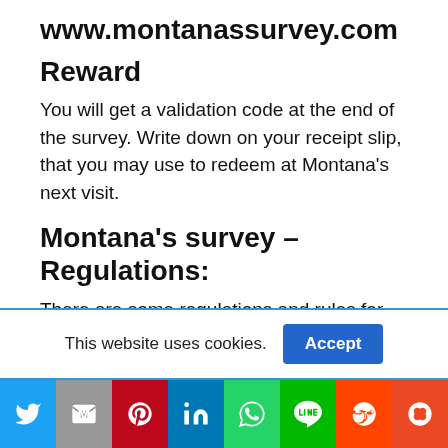www.montanassurvey.com
Reward
You will get a validation code at the end of the survey. Write down on your receipt slip, that you may use to redeem at Montana’s next visit.
Montana’s survey – Regulations:
There are some regulations and rules for this
This website uses cookies.
[Figure (other): Social media share bar with icons for Twitter, Gmail, Pinterest, LinkedIn, WhatsApp, Line, Reddit, and StumbleUpon]